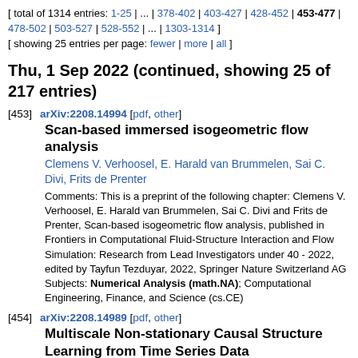[ total of 1314 entries: 1-25 | ... | 378-402 | 403-427 | 428-452 | 453-477 | 478-502 | 503-527 | 528-552 | ... | 1303-1314 ] [ showing 25 entries per page: fewer | more | all ]
Thu, 1 Sep 2022 (continued, showing 25 of 217 entries)
[453] arXiv:2208.14994 [pdf, other]
Scan-based immersed isogeometric flow analysis
Clemens V. Verhoosel, E. Harald van Brummelen, Sai C. Divi, Frits de Prenter
Comments: This is a preprint of the following chapter: Clemens V. Verhoosel, E. Harald van Brummelen, Sai C. Divi and Frits de Prenter, Scan-based isogeometric flow analysis, published in Frontiers in Computational Fluid-Structure Interaction and Flow Simulation: Research from Lead Investigators under 40 - 2022, edited by Tayfun Tezduyar, 2022, Springer Nature Switzerland AG Subjects: Numerical Analysis (math.NA); Computational Engineering, Finance, and Science (cs.CE)
[454] arXiv:2208.14989 [pdf, other]
Multiscale Non-stationary Causal Structure Learning from Time Series Data